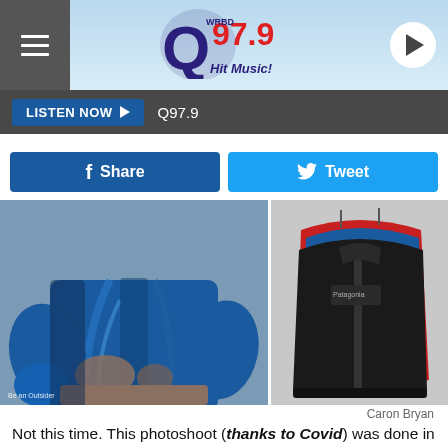Q97.9 Hit Music!
LISTEN NOW ▶  Q97.9
f  Share    Tweet
[Figure (photo): Left: close-up of person wearing blue jacket with hands in pocket. Right: product photo showing three layered jackets (red, blue, black) on a light background. Watermark text: Be an Outsider]
Caron Bryan
Not this time. This photoshoot (thanks to Covid) was done in